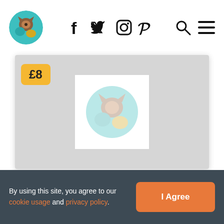Logo | f t instagram pinterest | search menu
[Figure (screenshot): Product card with grey placeholder image area, a yellow £8 price badge in top left, and a centered white box containing a faded circular pet logo watermark]
By using this site, you agree to our cookie usage and privacy policy.